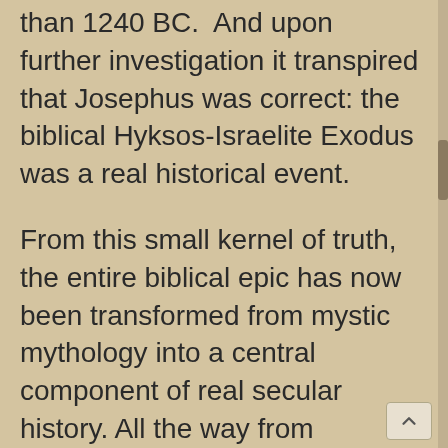than 1240 BC.  And upon further investigation it transpired that Josephus was correct: the biblical Hyksos-Israelite Exodus was a real historical event.
From this small kernel of truth, the entire biblical epic has now been transformed from mystic mythology into a central component of real secular history. All the way from Genesis to Revelations, this simple but rational reevaluation technique became the foundation for The Egyptian Exodus Series and